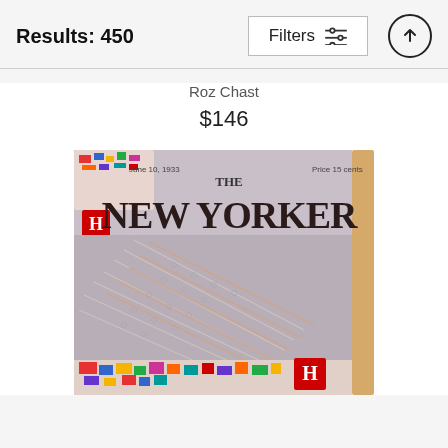Results: 450
Filters
Roz Chast
$146
[Figure (photo): Product photo of a New Yorker magazine cover print on wood. The cover shows 'THE NEW YORKER' masthead, 'Price 15 cents', 'June 10, 1933', and an illustrated scene of rowing boats on water with colorful flags and crowds at the bottom. The product has a visible wood edge on the right side.]